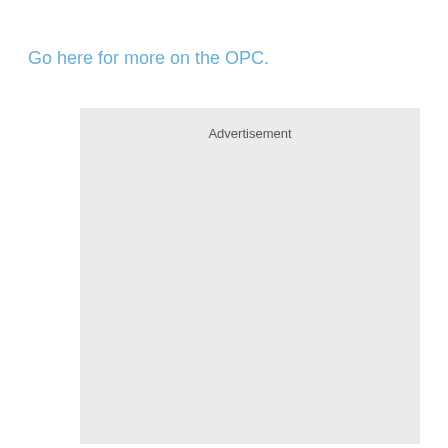Go here for more on the OPC.
[Figure (other): Advertisement placeholder box with light gray background and 'Advertisement' label at top center]